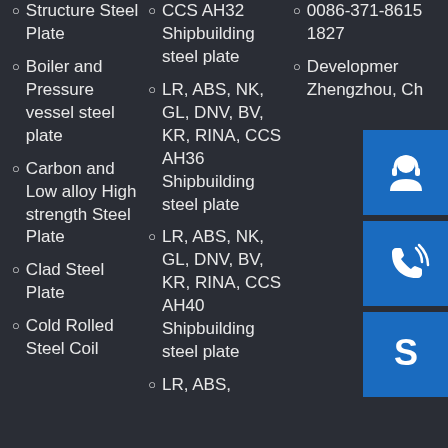Structure Steel Plate
Boiler and Pressure vessel steel plate
Carbon and Low alloy High strength Steel Plate
Clad Steel Plate
Cold Rolled Steel Coil
CCS AH32 Shipbuilding steel plate
LR, ABS, NK, GL, DNV, BV, KR, RINA, CCS AH36 Shipbuilding steel plate
LR, ABS, NK, GL, DNV, BV, KR, RINA, CCS AH40 Shipbuilding steel plate
LR, ABS,
0086-371-8615 1827
Development Zhengzhou, Ch
[Figure (illustration): Three blue square icon buttons: headset/customer service icon, phone/call icon, Skype icon]